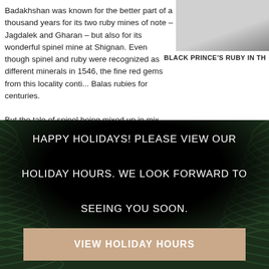Badakhshan was known for the better part of a thousand years for its two ruby mines of note – Jagdalek and Gharan – but also for its wonderful spinel mine at Shignan. Even though spinel and ruby were recognized as different minerals in 1546, the fine red gems from this locality continued to be sold as Balas rubies for centuries.
[Figure (photo): Partial photo of the Black Prince's Ruby, partially visible in upper right corner]
BLACK PRINCE'S RUBY IN TH...
But the tale of spinel being mixed up in mix-ups doesn't end there. which spinel and ruby become readily differentiated and many misi spinels, the Black Prince's Ruby among them in the 1940s
HAPPY HOLIDAYS! PLEASE VIEW OUR HOLIDAY HOURS. WE LOOK FORWARD TO SEEING YOU SOON.
VIEW HOLIDAY HOURS